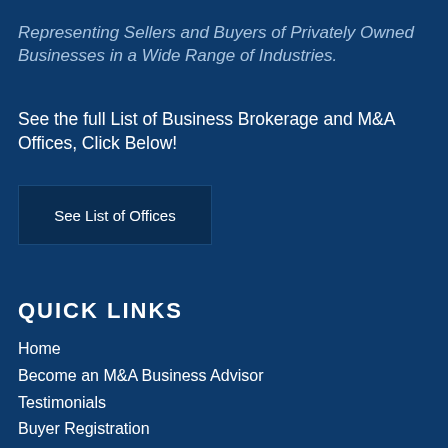Representing Sellers and Buyers of Privately Owned Businesses in a Wide Range of Industries.
See the full List of Business Brokerage and M&A Offices, Click Below!
[Figure (other): Dark navy blue button labeled 'See List of Offices']
QUICK LINKS
Home
Become an M&A Business Advisor
Testimonials
Buyer Registration
Seller Registration